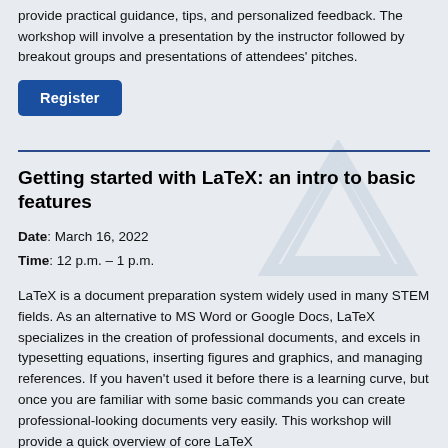provide practical guidance, tips, and personalized feedback. The workshop will involve a presentation by the instructor followed by breakout groups and presentations of attendees' pitches.
[Figure (other): Blue Register button]
Getting started with LaTeX: an intro to basic features
Date: March 16, 2022
Time: 12 p.m. – 1 p.m.
LaTeX is a document preparation system widely used in many STEM fields. As an alternative to MS Word or Google Docs, LaTeX specializes in the creation of professional documents, and excels in typesetting equations, inserting figures and graphics, and managing references. If you haven't used it before there is a learning curve, but once you are familiar with some basic commands you can create professional-looking documents very easily. This workshop will provide a quick overview of core LaTeX